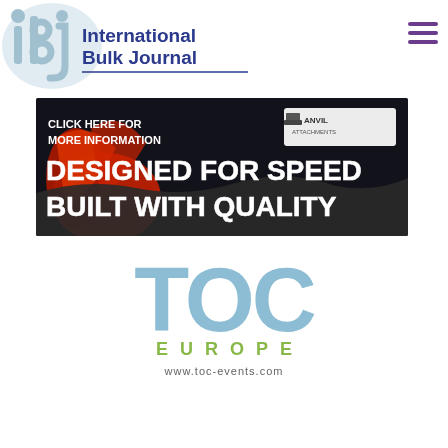[Figure (logo): International Bulk Journal (IBJ) logo with stylized 'ibj' letters in light blue and company name in dark blue bold text]
[Figure (photo): Advertisement banner for Anvil Attachments showing a red industrial grapple/claw attachment working in scrap metal. Text reads 'CLICK HERE FOR MORE INFORMATION' and 'DESIGNED FOR SPEED BUILT WITH QUALITY' with Anvil Attachments logo in top right corner.]
[Figure (logo): TOC Europe logo with large blue-grey 'TOC' text, green 'EUROPE' subtitle in spaced capitals, and website URL www.toc-events.com below]